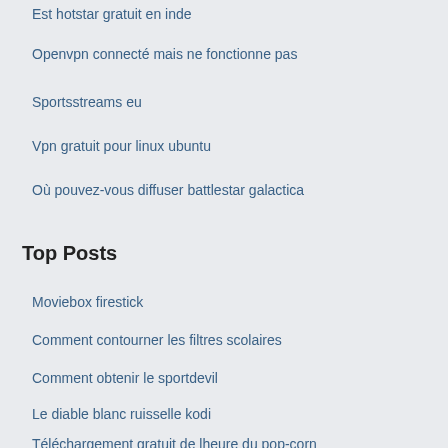Est hotstar gratuit en inde
Openvpn connecté mais ne fonctionne pas
Sportsstreams eu
Vpn gratuit pour linux ubuntu
Où pouvez-vous diffuser battlestar galactica
Top Posts
Moviebox firestick
Comment contourner les filtres scolaires
Comment obtenir le sportdevil
Le diable blanc ruisselle kodi
Téléchargement gratuit de lheure du pop-corn